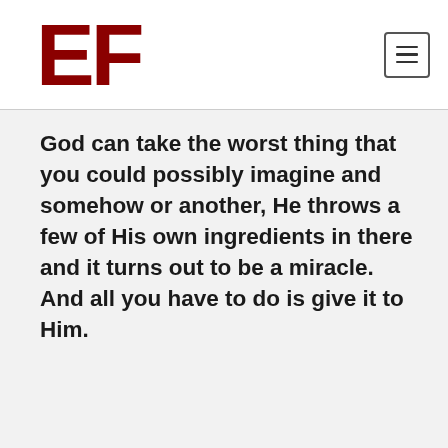[Figure (logo): EF logo in dark red bold letters]
God can take the worst thing that you could possibly imagine and somehow or another, He throws a few of His own ingredients in there and it turns out to be a miracle. And all you have to do is give it to Him.